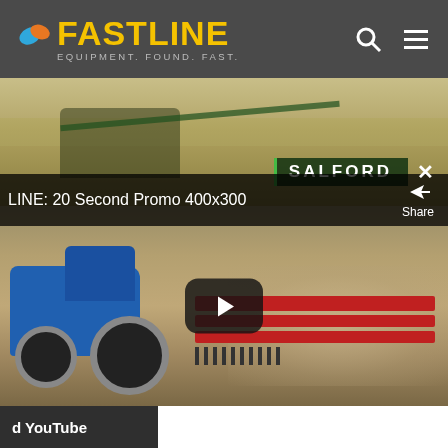[Figure (screenshot): Fastline website header with yellow FASTLINE logo, tagline EQUIPMENT. FOUND. FAST., search and menu icons on dark gray background]
[Figure (photo): Farm field with tractor pulling green implement (likely a field finisher or disc) across harvested grain field, SALFORD branding visible]
LINE: 20 Second Promo 400x300
[Figure (photo): Blue New Holland tractor pulling large red tillage implement across dusty field, YouTube video player interface with play button]
d YouTube